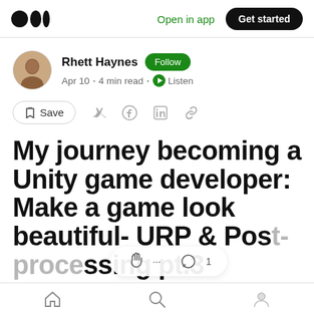Medium logo | Open in app | Get started
Rhett Haynes · Follow · Apr 10 · 4 min read · Listen
Save (action bar with social share icons)
My journey becoming a Unity game developer: Make a game look beautiful- URP & Pos[t-proce]ssing pt.3
Home | Search | Profile (bottom nav icons)